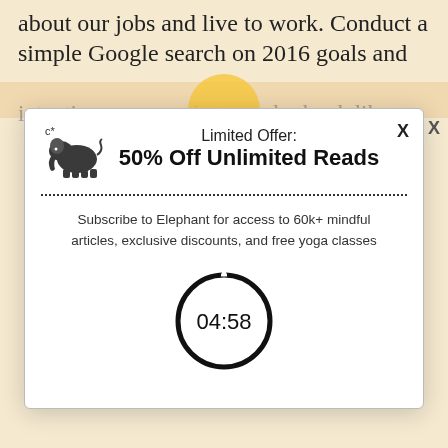about our jobs and live to work. Conduct a simple Google search on 2016 goals and
intentions, so you that popular book like... shapes of the...
[Figure (screenshot): Modal popup dialog with elephant logo, 'X' close button, 'Limited Offer: 50% Off Unlimited Reads' heading, dotted divider, subscription description text, and a countdown timer showing 04:58]
X
Limited Offer: 50% Off Unlimited Reads
Subscribe to Elephant for access to 60k+ mindful articles, exclusive discounts, and free yoga classes
04:58